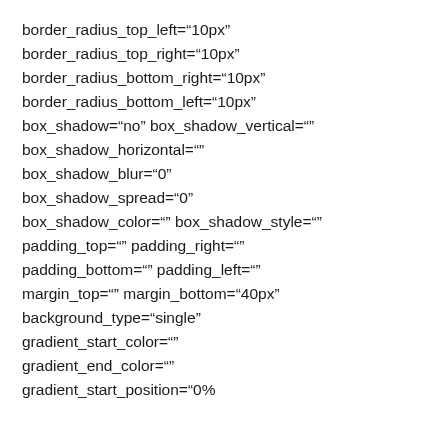border_radius_top_left="10px"
border_radius_top_right="10px"
border_radius_bottom_right="10px"
border_radius_bottom_left="10px"
box_shadow="no" box_shadow_vertical=""
box_shadow_horizontal=""
box_shadow_blur="0"
box_shadow_spread="0"
box_shadow_color="" box_shadow_style=""
padding_top="" padding_right=""
padding_bottom="" padding_left=""
margin_top="" margin_bottom="40px"
background_type="single"
gradient_start_color=""
gradient_end_color=""
gradient_start_position="0%